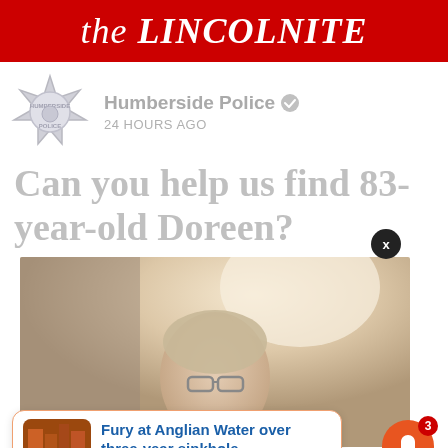the LINCOLNITE
[Figure (logo): Humberside Police badge/crest logo in grey/silver tones]
Humberside Police ✓
24 HOURS AGO
Can you help us find 83-year-old Doreen?
[Figure (photo): Faded/washed-out photo of an elderly woman with glasses]
X
[Figure (photo): Thumbnail of a sinkhole/street scene near Anglian Water]
Fury at Anglian Water over three-year sinkhole
22 hours ago
3